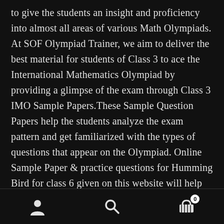to give the students an insight and proficiency into almost all areas of various Math Olympiads. At SOF Olympiad Trainer, we aim to deliver the best material for students of Class 3 to ace the International Mathematics Olympiad by providing a glimpse of the exam through Class 3 IMO Sample Papers.These Sample Question Papers help the students analyze the exam pattern and get familiarized with the types of questions that appear on the Olympiad. Online Sample Paper & practice questions for Humming Bird for class 6 given on this website will help you prepare for the exam. Figure (Z) shows the manner in . . . Sign Up. Sample model question papers and syllabus for Class 6 Science Olympiad exam preparation 799 /- View . It helps students to improve their reasoning skills, thinking ability and problem-solving skills. How to improve your Spoken
[user icon] [search icon] [cart icon with badge 0]